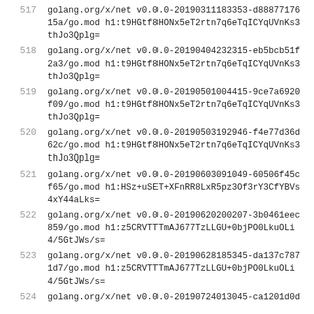517 golang.org/x/net v0.0.0-20190311183353-d88877176 15a/go.mod h1:t9HGtf8HONx5eT2rtn7q6eTqICYqUVnKs3 thJo3Qplg=
518 golang.org/x/net v0.0.0-20190404232315-eb5bcb51f 2a3/go.mod h1:t9HGtf8HONx5eT2rtn7q6eTqICYqUVnKs3 thJo3Qplg=
519 golang.org/x/net v0.0.0-20190501004415-9ce7a6920 f09/go.mod h1:t9HGtf8HONx5eT2rtn7q6eTqICYqUVnKs3 thJo3Qplg=
520 golang.org/x/net v0.0.0-20190503192946-f4e77d36d 62c/go.mod h1:t9HGtf8HONx5eT2rtn7q6eTqICYqUVnKs3 thJo3Qplg=
521 golang.org/x/net v0.0.0-20190603091049-60506f45c f65/go.mod h1:HSz+uSET+XFnRR8LxR5pz3Of3rY3CfYBVs 4xY44aLks=
522 golang.org/x/net v0.0.0-20190620200207-3b0461eec 859/go.mod h1:z5CRVTTTmAJ677TzLLGU+0bjPO0LkuOLi 4/5GtJWs/s=
523 golang.org/x/net v0.0.0-20190628185345-da137c787 1d7/go.mod h1:z5CRVTTTmAJ677TzLLGU+0bjPO0LkuOLi 4/5GtJWs/s=
524 golang.org/x/net v0.0.0-20190724013045-ca1201d0d